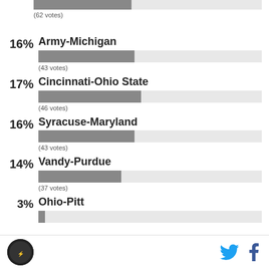[Figure (bar-chart): Poll results]